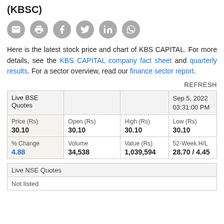(KBSC)
[Figure (other): Row of social sharing icon circles: email, print, Facebook, Twitter, LinkedIn, WhatsApp]
Here is the latest stock price and chart of KBS CAPITAL. For more details, see the KBS CAPITAL company fact sheet and quarterly results. For a sector overview, read our finance sector report.
REFRESH
| Live BSE Quotes |  | Sep 5, 2022 03:31:00 PM |
| --- | --- | --- |
| Price (Rs)
30.10 | Open (Rs)
30.10 | High (Rs)
30.10 | Low (Rs)
30.10 |
| % Change
4.88 | Volume
34,538 | Value (Rs)
1,039,594 | 52-Week H/L
28.70 / 4.45 |
| Live NSE Quotes |
| --- |
| Not listed |